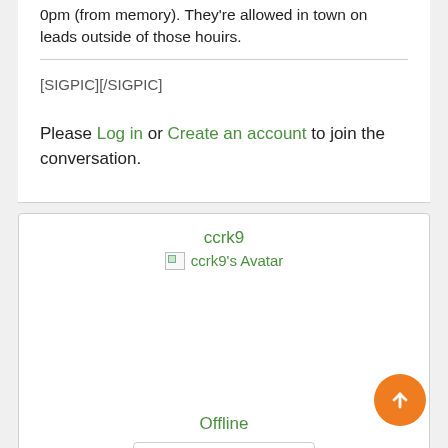0pm (from memory). They're allowed in town on leads outside of those houirs.
[SIGPIC][/SIGPIC]
Please Log in or Create an account to join the conversation.
ccrk9
[Figure (illustration): Broken avatar image placeholder with text 'ccrk9's Avatar']
Offline
More